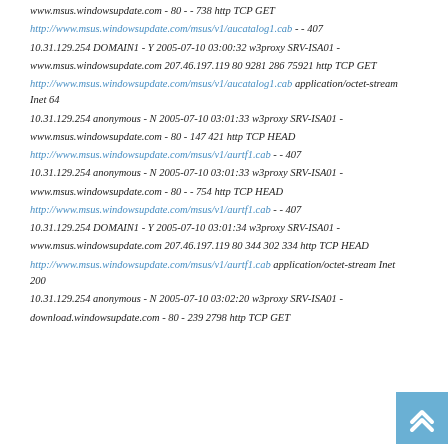www.msus.windowsupdate.com - 80 - - 738 http TCP GET
http://www.msus.windowsupdate.com/msus/v1/aucatalog1.cab - - 407
10.31.129.254 DOMAIN1 - Y 2005-07-10 03:00:32 w3proxy SRV-ISA01 -
www.msus.windowsupdate.com 207.46.197.119 80 9281 286 75921 http TCP GET
http://www.msus.windowsupdate.com/msus/v1/aucatalog1.cab application/octet-stream Inet 64
10.31.129.254 anonymous - N 2005-07-10 03:01:33 w3proxy SRV-ISA01 -
www.msus.windowsupdate.com - 80 - 147 421 http TCP HEAD
http://www.msus.windowsupdate.com/msus/v1/aurtf1.cab - - 407
10.31.129.254 anonymous - N 2005-07-10 03:01:33 w3proxy SRV-ISA01 -
www.msus.windowsupdate.com - 80 - - 754 http TCP HEAD
http://www.msus.windowsupdate.com/msus/v1/aurtf1.cab - - 407
10.31.129.254 DOMAIN1 - Y 2005-07-10 03:01:34 w3proxy SRV-ISA01 -
www.msus.windowsupdate.com 207.46.197.119 80 344 302 334 http TCP HEAD
http://www.msus.windowsupdate.com/msus/v1/aurtf1.cab application/octet-stream Inet 200
10.31.129.254 anonymous - N 2005-07-10 03:02:20 w3proxy SRV-ISA01 -
download.windowsupdate.com - 80 - 239 2798 http TCP GET